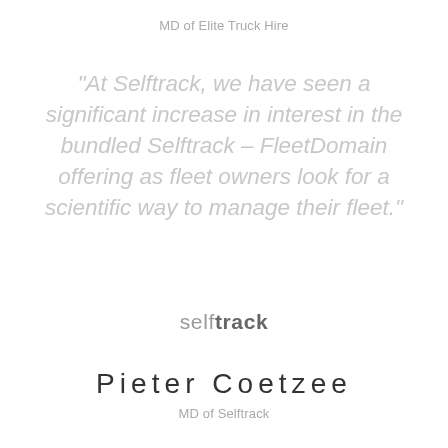MD of Elite Truck Hire
"At Selftrack, we have seen a significant increase in interest in the bundled Selftrack – FleetDomain offering as fleet owners look for a scientific way to manage their fleet."
[Figure (logo): Selftrack logo with 'self' in light grey and 'track' in bold dark grey]
Pieter Coetzee
MD of Selftrack